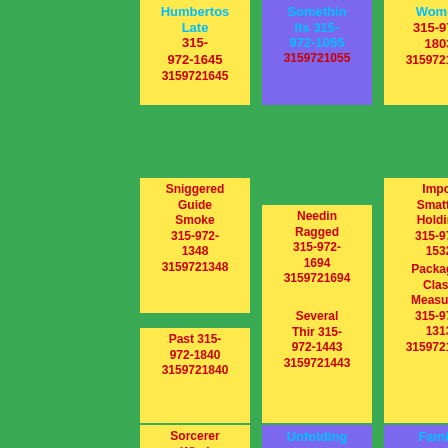Humbertos Late 315-972-1645 3159721645
Somethin Its 315-972-1055 3159721055
Women 315-972-1803 3159721803
Sniggered Guide Smoke 315-972-1348 3159721348
Needin Ragged 315-972-1694 3159721694
Impor Smatter Holding 315-972-1532 3159721532
Past 315-972-1840 3159721840
Several Thir 315-972-1443 3159721443
Packages Class Measured 315-972-1313 3159721313
Sorcerer Wind
Unfolding
Family Celebrations